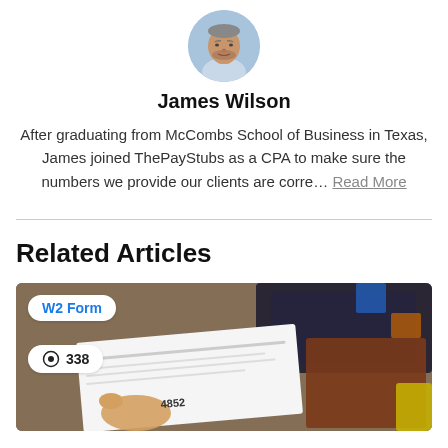[Figure (photo): Circular avatar photo of James Wilson, a man with short gray/salt-and-pepper hair and beard, against a blue background]
James Wilson
After graduating from McCombs School of Business in Texas, James joined ThePayStubs as a CPA to make sure the numbers we provide our clients are corre... Read More
[Figure (photo): Article card image showing hands holding a W2 form document over a desk with office supplies in the background. Badge labels: 'W2 Form' and view count '338']